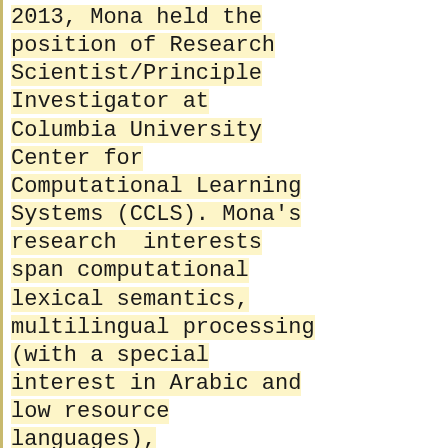2013, Mona held the position of Research Scientist/Principle Investigator at Columbia University Center for Computational Learning Systems (CCLS). Mona's research  interests span computational lexical semantics, multilingual processing (with a special interest in Arabic and low resource languages), unsupervised learning for NLP, computational sociopragmatic modeling, information extraction and machine translation. On the